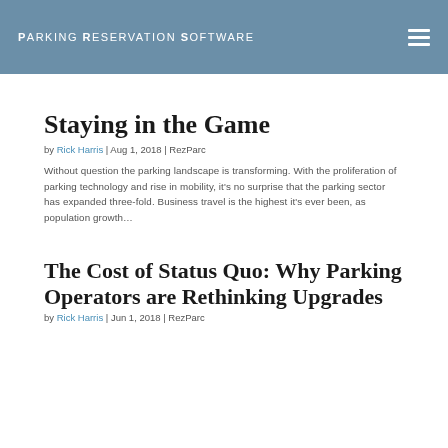Parking Reservation Software
Staying in the Game
by Rick Harris | Aug 1, 2018 | RezParc
Without question the parking landscape is transforming. With the proliferation of parking technology and rise in mobility, it's no surprise that the parking sector has expanded three-fold. Business travel is the highest it's ever been, as population growth…
The Cost of Status Quo: Why Parking Operators are Rethinking Upgrades
by Rick Harris | Jun 1, 2018 | RezParc